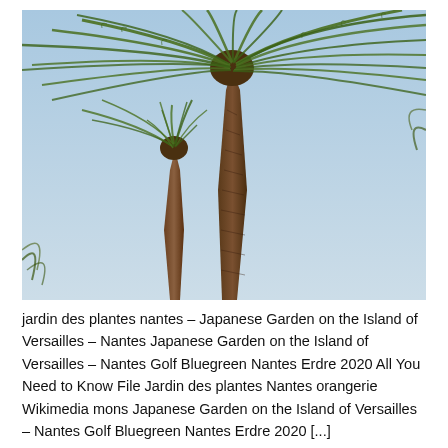[Figure (photo): A photograph taken from below looking up at one or two tall palm trees with large fronds spread out against a pale blue sky. The trunks are brown and textured. The fronds are long and green.]
jardin des plantes nantes – Japanese Garden on the Island of Versailles – Nantes Japanese Garden on the Island of Versailles – Nantes Golf Bluegreen Nantes Erdre 2020 All You Need to Know File Jardin des plantes Nantes orangerie Wikimedia mons Japanese Garden on the Island of Versailles – Nantes Golf Bluegreen Nantes Erdre 2020 [...]